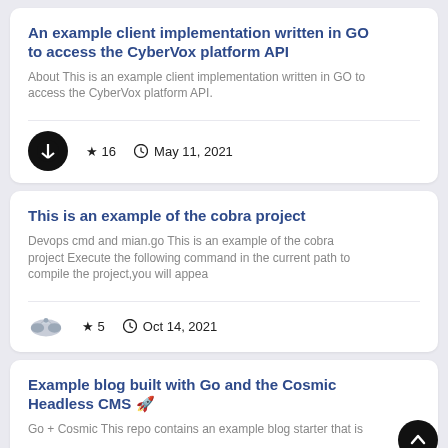An example client implementation written in GO to access the CyberVox platform API
About This is an example client implementation written in GO to access the CyberVox platform API.
★ 16   🕐 May 11, 2021
This is an example of the cobra project
Devops cmd and mian.go This is an example of the cobra project Execute the following command in the current path to compile the project,you will appea
★ 5   🕐 Oct 14, 2021
Example blog built with Go and the Cosmic Headless CMS 🚀
Go + Cosmic This repo contains an example blog starter that is